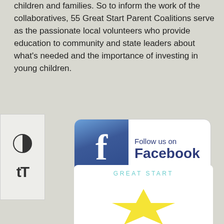children and families. So to inform the work of the collaboratives, 55 Great Start Parent Coalitions serve as the passionate local volunteers who provide education to community and state leaders about what's needed and the importance of investing in young children.
[Figure (screenshot): Facebook follow us button with Facebook logo icon on a white rounded rectangle]
[Figure (logo): Great Start logo with yellow star and teal lettering on white card]